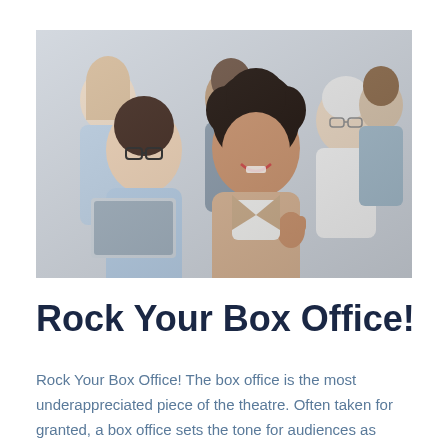[Figure (photo): Group photo of diverse business professionals smiling, one woman in the center giving a thumbs up while holding a laptop, others standing behind her]
Rock Your Box Office!
Rock Your Box Office! The box office is the most underappreciated piece of the theatre. Often taken for granted, a box office sets the tone for audiences as